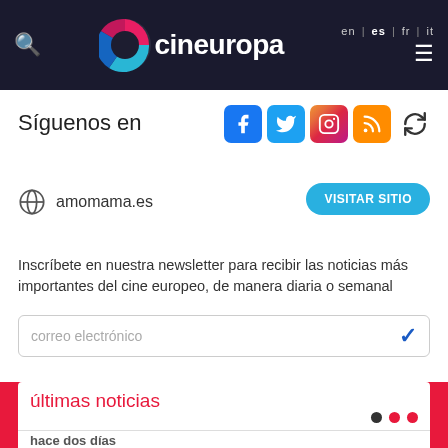[Figure (screenshot): Cineuropa website header with dark background, search icon, colorful C logo, site name 'cineuropa', language selector (en|es|fr|it), and hamburger menu]
Síguenos en
[Figure (infographic): Social media icons: Facebook (blue), Twitter (light blue), Instagram (gradient), RSS (orange), refresh/arrow icon]
amomama.es
VISITAR SITIO
Inscríbete en nuestra newsletter para recibir las noticias más importantes del cine europeo, de manera diaria o semanal
correo electrónico
últimas noticias
hace dos días